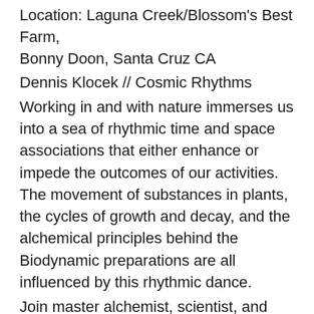Location: Laguna Creek/Blossom's Best Farm, Bonny Doon, Santa Cruz CA
Dennis Klocek // Cosmic Rhythms
Working in and with nature immerses us into a sea of rhythmic time and space associations that either enhance or impede the outcomes of our activities. The movement of substances in plants, the cycles of growth and decay, and the alchemical principles behind the Biodynamic preparations are all influenced by this rhythmic dance.
Join master alchemist, scientist, and artist, Dennis Klocek, in exploring these rhythms to reach a new understanding of how they can be worked with to enhance our daily actions. Day-long workshop, lunch included.